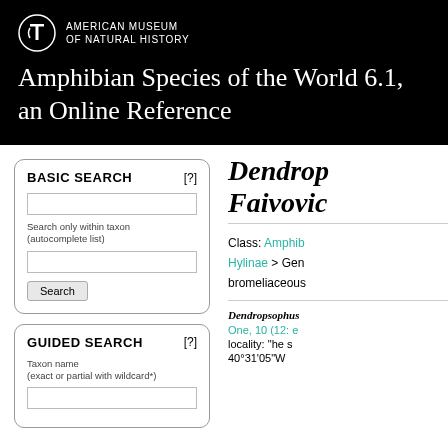American Museum of Natural History
Amphibian Species of the World 6.1, an Online Reference
BASIC SEARCH [?]
Search only within taxon (autocomplete list)
GUIDED SEARCH [?]
Taxon name (exact or partial with wildcard*)
Dendropsophus Faivovich
Class: Amphibia > ... Hylinae > Genus ... bromeliaceous
Dendropsophus ... One, 10 (12: e... locality: "he s... 40°31'05"W...